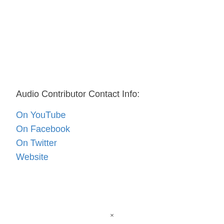Audio Contributor Contact Info:
On YouTube
On Facebook
On Twitter
Website
×